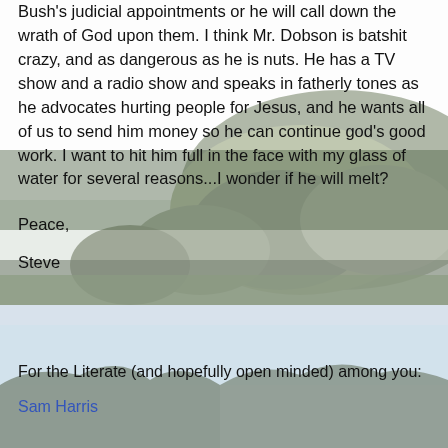Bush's judicial appointments or he will call down the wrath of God upon them. I think Mr. Dobson is batshit crazy, and as dangerous as he is nuts. He has a TV show and a radio show and speaks in fatherly tones as he advocates hurting people for Jesus, and he wants all of us to send him money so he can continue god's good work. I want to hit him full in the face with my glass of water for several reasons...I wonder if he will melt?
Peace,
Steve
[Figure (photo): Rocky mountainous landscape with large boulders and green forest in the background, then a lower valley/water scene below]
For the Literate (and hopefully open minded) among you:
Sam Harris